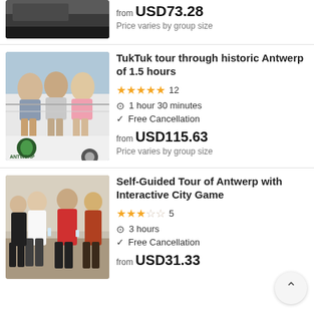[Figure (photo): Partial top of a vehicle/car image, cropped at top of page]
from USD73.28
Price varies by group size
[Figure (photo): Group of young women sitting on a TukTuk vehicle with Antwerp TukTuk branding]
TukTuk tour through historic Antwerp of 1.5 hours
★★★★★ 12
⏱ 1 hour 30 minutes
✓ Free Cancellation
from USD115.63
Price varies by group size
[Figure (photo): Group of young adults socializing outdoors, smiling and holding drinks]
Self-Guided Tour of Antwerp with Interactive City Game
★★★☆☆ 5
⏱ 3 hours
✓ Free Cancellation
from USD31.33